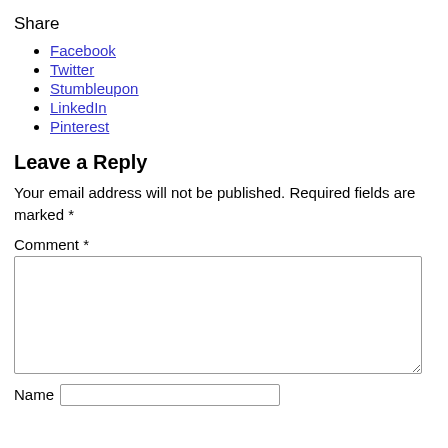Share
Facebook
Twitter
Stumbleupon
LinkedIn
Pinterest
Leave a Reply
Your email address will not be published. Required fields are marked *
Comment *
Name